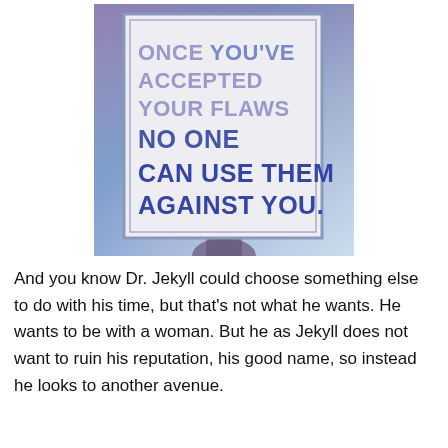[Figure (photo): A photograph of a person holding up a white sign with a blue border against a purple-blue sky background. The sign reads: 'ONCE YOU'VE ACCEPTED YOUR FLAWS NO ONE CAN USE THEM AGAINST YOU.' in bold uppercase letters, with the first part in lighter gray-blue and 'NO ONE CAN USE THEM AGAINST YOU.' in darker blue.]
And you know Dr. Jekyll could choose something else to do with his time, but that's not what he wants. He wants to be with a woman. But he as Jekyll does not want to ruin his reputation, his good name, so instead he looks to another avenue.